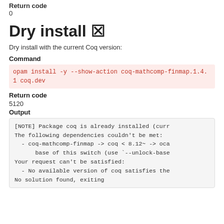Return code
0
Dry install 🗙
Dry install with the current Coq version:
Command
opam install -y --show-action coq-mathcomp-finmap.1.4.1 coq.dev
Return code
5120
Output
[NOTE] Package coq is already installed (curr
The following dependencies couldn't be met:
    - coq-mathcomp-finmap -> coq < 8.12~ -> oca
          base of this switch (use `--unlock-base
Your request can't be satisfied:
    - No available version of coq satisfies the
No solution found, exiting